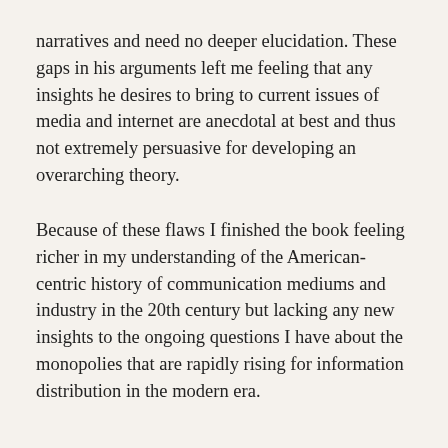narratives and need no deeper elucidation. These gaps in his arguments left me feeling that any insights he desires to bring to current issues of media and internet are anecdotal at best and thus not extremely persuasive for developing an overarching theory.
Because of these flaws I finished the book feeling richer in my understanding of the American-centric history of communication mediums and industry in the 20th century but lacking any new insights to the ongoing questions I have about the monopolies that are rapidly rising for information distribution in the modern era.